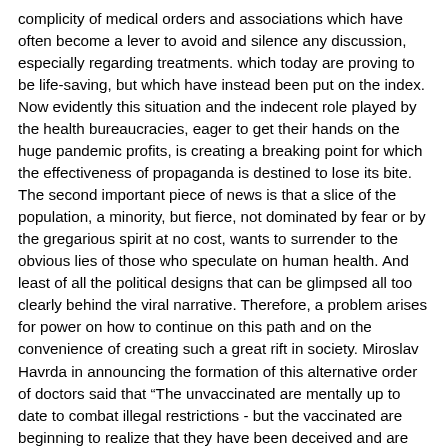complicity of medical orders and associations which have often become a lever to avoid and silence any discussion, especially regarding treatments. which today are proving to be life-saving, but which have instead been put on the index. Now evidently this situation and the indecent role played by the health bureaucracies, eager to get their hands on the huge pandemic profits, is creating a breaking point for which the effectiveness of propaganda is destined to lose its bite. The second important piece of news is that a slice of the population, a minority, but fierce, not dominated by fear or by the gregarious spirit at no cost, wants to surrender to the obvious lies of those who speculate on human health. And least of all the political designs that can be glimpsed all too clearly behind the viral narrative. Therefore, a problem arises for power on how to continue on this path and on the convenience of creating such a great rift in society. Miroslav Havrda in announcing the formation of this alternative order of doctors said that “The unvaccinated are mentally up to date to combat illegal restrictions - but the vaccinated are beginning to realize that they have been deceived and are considering very carefully whether it is the case of